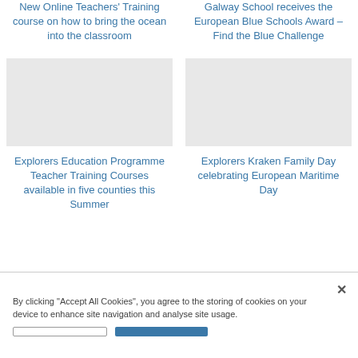New Online Teachers' Training course on how to bring the ocean into the classroom
Galway School receives the European Blue Schools Award – Find the Blue Challenge
Explorers Education Programme Teacher Training Courses available in five counties this Summer
Explorers Kraken Family Day celebrating European Maritime Day
By clicking "Accept All Cookies", you agree to the storing of cookies on your device to enhance site navigation and analyse site usage.